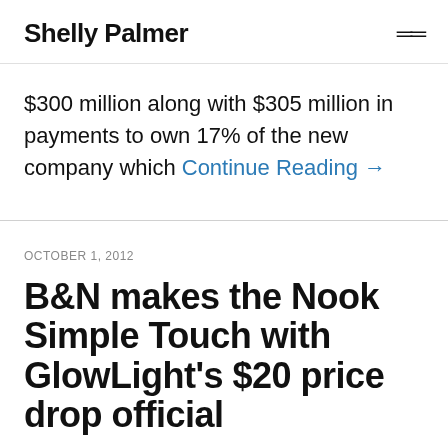Shelly Palmer
$300 million along with $305 million in payments to own 17% of the new company which Continue Reading →
OCTOBER 1, 2012
B&N makes the Nook Simple Touch with GlowLight's $20 price drop official